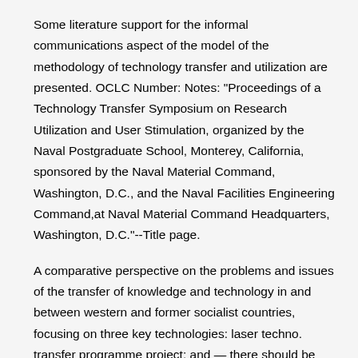Some literature support for the informal communications aspect of the model of the methodology of technology transfer and utilization are presented. OCLC Number: Notes: "Proceedings of a Technology Transfer Symposium on Research Utilization and User Stimulation, organized by the Naval Postgraduate School, Monterey, California, sponsored by the Naval Material Command, Washington, D.C., and the Naval Facilities Engineering Command,at Naval Material Command Headquarters, Washington, D.C."--Title page.
A comparative perspective on the problems and issues of the transfer of knowledge and technology in and between western and former socialist countries, focusing on three key technologies: laser techno. transfer programme project; and — there should be effective process and product knowledge transfer.
Technology transfer can be cons idered successful if there is documented evidence that the RU can rout inely reproduce the transferred product, process or method against a predefi ned set of specifi cations as agreed with the SU. Book Detail: Extension